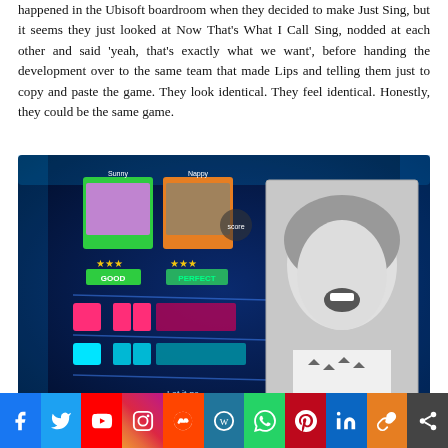happened in the Ubisoft boardroom when they decided to make Just Sing, but it seems they just looked at Now That's What I Call Sing, nodded at each other and said 'yeah, that's exactly what we want', before handing the development over to the same team that made Lips and telling them just to copy and paste the game. They look identical. They feel identical. Honestly, they could be the same game.
[Figure (screenshot): Screenshot of a karaoke/singing video game showing player score cards with 'GOOD' and 'PERFECT' ratings with stars, colorful note bars on a dark glowing background, with lyrics 'Let it go / Turn away and slam the door', alongside a black-and-white photo of a woman laughing/singing]
[Figure (infographic): Social media sharing toolbar with icons for Facebook (blue), Twitter (blue), YouTube (red), Instagram (pink/orange), Reddit (orange-red), WordPress (dark blue/black), WhatsApp (green), Pinterest (red), LinkedIn (blue), Copy link (orange), Share (dark gray)]